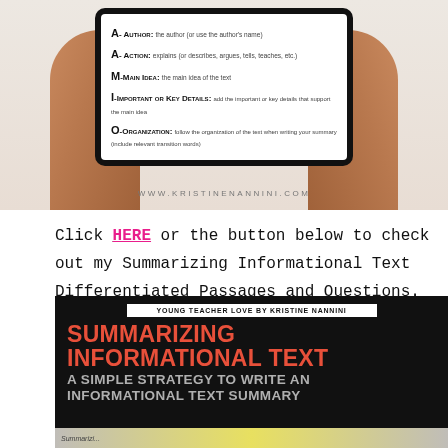[Figure (photo): Hands holding a tablet showing AAMIO acronym strategy for summarizing informational text. Website www.kristinenannini.com shown below.]
Click HERE or the button below to check out my Summarizing Informational Text Differentiated Passages and Questions.
[Figure (infographic): Dark banner: Young Teacher Love by Kristine Nannini. SUMMARIZING INFORMATIONAL TEXT - A SIMPLE STRATEGY TO WRITE AN INFORMATIONAL TEXT SUMMARY]